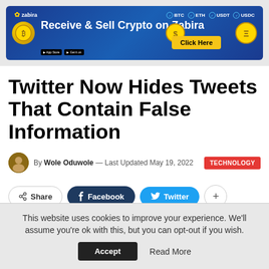[Figure (illustration): Advertisement banner for Zabira crypto exchange. Blue background with gold coins, text 'Receive & Sell Crypto on Zabira', crypto labels BTC ETH USDT USDC, and a yellow 'Click Here' button.]
Twitter Now Hides Tweets That Contain False Information
By Wole Oduwole — Last Updated May 19, 2022  TECHNOLOGY
Share  Facebook  Twitter  +
This website uses cookies to improve your experience. We'll assume you're ok with this, but you can opt-out if you wish.
Accept  Read More